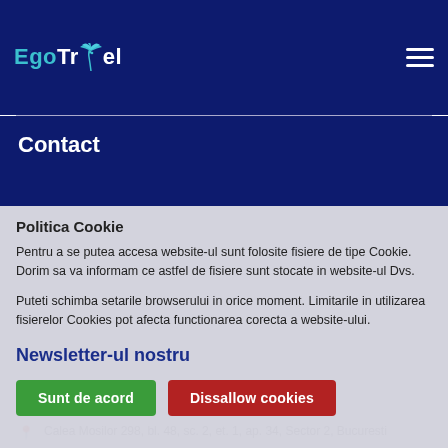EgoTravel
Contact
Calea Mosilor 298, bl. 48, sc. 2, et. 1, ap. 34, Sector 2, Bucuresti
rezervari@egotravel.ro
0730 441 442
Politica Cookie
Pentru a se putea accesa website-ul sunt folosite fisiere de tipe Cookie. Dorim sa va informam ce astfel de fisiere sunt stocate in website-ul Dvs.
Puteti schimba setarile browserului in orice moment. Limitarile in utilizarea fisierelor Cookies pot afecta functionarea corecta a website-ului.
Newsletter-ul nostru
Sunt de acord
Dissallow cookies